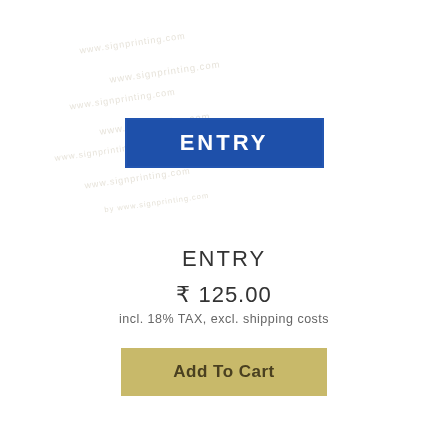[Figure (photo): Product image showing a blue rectangular sign with white bold text reading ENTRY, with a thin border and watermark text overlaid in the background]
ENTRY
₹ 125.00
incl. 18% TAX, excl. shipping costs
Add To Cart